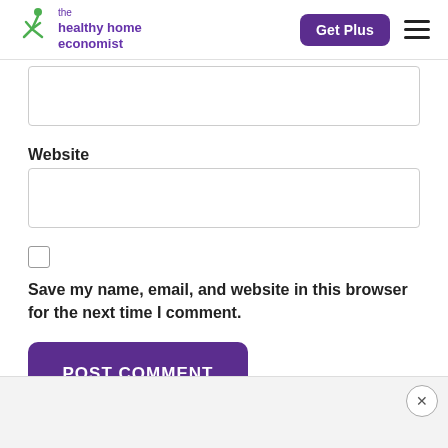the healthy home economist | Get Plus
[Figure (other): Text input box (partially visible, no label shown)]
Website
[Figure (other): Website text input box]
[Figure (other): Checkbox (unchecked)]
Save my name, email, and website in this browser for the next time I comment.
[Figure (other): POST COMMENT button]
[Figure (other): Bottom ad/close bar with X button]